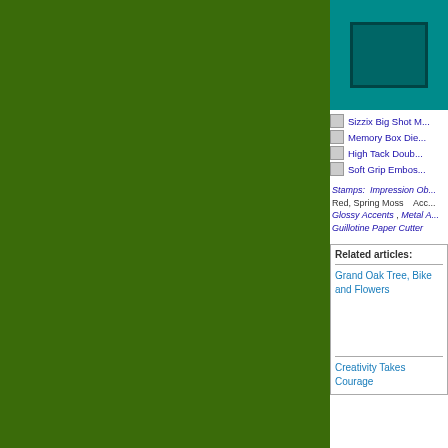[Figure (photo): Teal/dark teal colored card or craft project image in upper right]
Sizzix Big Shot M...
Memory Box Die...
High Tack Doub...
Soft Grip Embos...
Stamps: Impression Ob... Red, Spring Moss   Acc... Glossy Accents , Metal A... Guillotine Paper Cutter
Related articles:
Grand Oak Tree, Bike and Flowers
Creativity Takes Courage